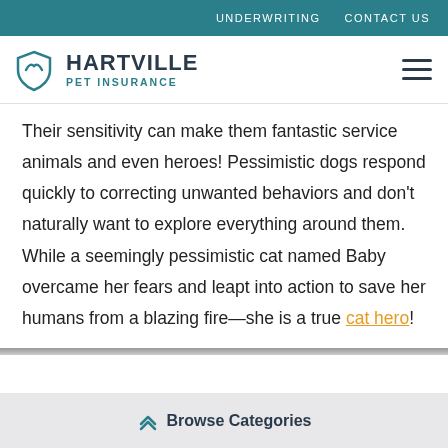UNDERWRITING   CONTACT US
HARTVILLE PET INSURANCE
Their sensitivity can make them fantastic service animals and even heroes! Pessimistic dogs respond quickly to correcting unwanted behaviors and don't naturally want to explore everything around them. While a seemingly pessimistic cat named Baby overcame her fears and leapt into action to save her humans from a blazing fire—she is a true cat hero!
Browse Categories